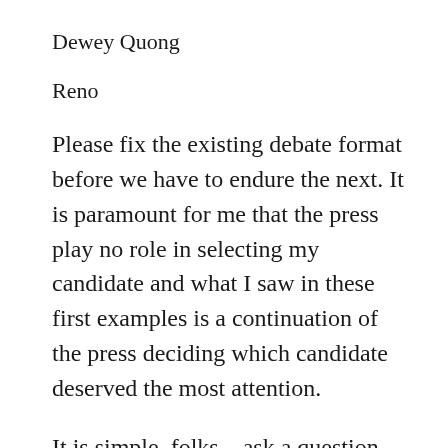Dewey Quong
Reno
Please fix the existing debate format before we have to endure the next. It is paramount for me that the press play no role in selecting my candidate and what I saw in these first examples is a continuation of the press deciding which candidate deserved the most attention.
It is simple, folks—ask a question, let